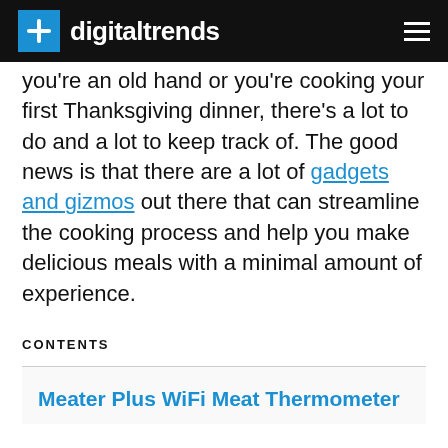digitaltrends
you're an old hand or you're cooking your first Thanksgiving dinner, there's a lot to do and a lot to keep track of. The good news is that there are a lot of gadgets and gizmos out there that can streamline the cooking process and help you make delicious meals with a minimal amount of experience.
CONTENTS
Meater Plus WiFi Meat Thermometer